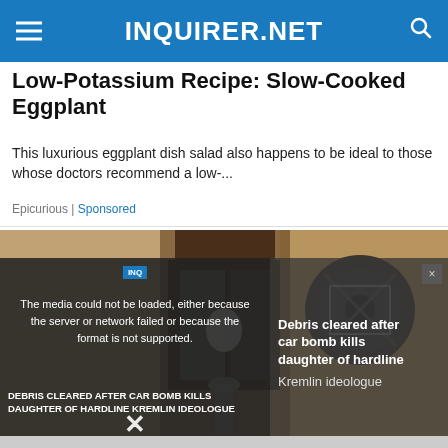INQUIRER.NET
Low-Potassium Recipe: Slow-Cooked Eggplant
This luxurious eggplant dish salad also happens to be ideal to those whose doctors recommend a low-...
Epicurious | Sponsored
[Figure (photo): Photo of an outdoor wall-mounted lantern light fixture against a textured beige stucco wall]
[Figure (screenshot): Video player overlay showing error message: 'The media could not be loaded, either because the server or network failed or because the format is not supported.' with lower text 'DEBRIS CLEARED AFTER CAR BOMB KILLS DAUGHTER OF HARDLINE KREMLIN IDEOLOGUE' and an X close button]
Debris cleared after car bomb kills daughter of hardline Kremlin ideologue